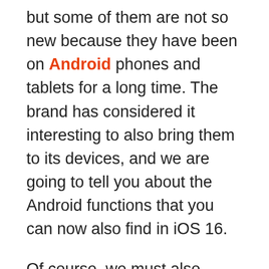but some of them are not so new because they have been on Android phones and tablets for a long time. The brand has considered it interesting to also bring them to its devices, and we are going to tell you about the Android functions that you can now also find in iOS 16.
Of course, we must also recognize that it is loaded with new features that are not found in the Google operating system, such as the possibility of editing messages that have been sent or using the camera as a webcam. But now what we are going to focus on is what is most familiar to us from having seen it before on Android devices.